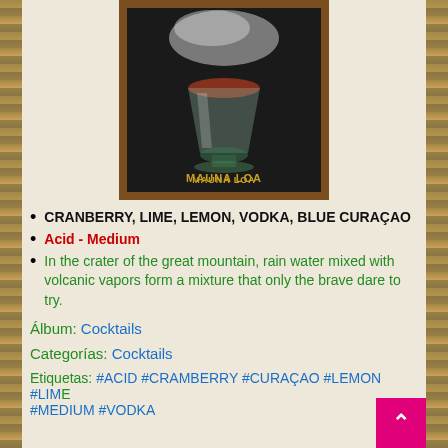[Figure (photo): A cocktail drink in a glass inside a bamboo/wooden frame, with smoke or vapor coming from the top. Text 'MAUNA LOA' visible at the bottom of the frame.]
CRANBERRY, LIME, LEMON, VODKA, BLUE CURAÇAO
Acid - Medium
In the crater of the great mountain, rain water mixed with volcanic vapors form a mixture that only the brave dare to try.
Álbum: Cocktails
Categorías: Cocktails
Etiquetas: #ACID #CRAMBERRY #CURAÇAO #LEMON #LIME #MEDIUM #VODKA